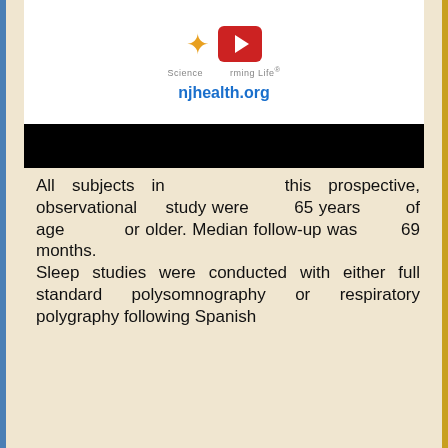[Figure (screenshot): NJ Health logo area with a star icon and red YouTube-style play button, tagline 'Science Transforming Life', URL njhealth.org shown in blue bold text, with a black bar at the bottom of the image region.]
All subjects in this prospective, observational study were 65 years of age or older. Median follow-up was 69 months. Sleep studies were conducted with either full standard polysomnography or respiratory polygraphy following Spanish